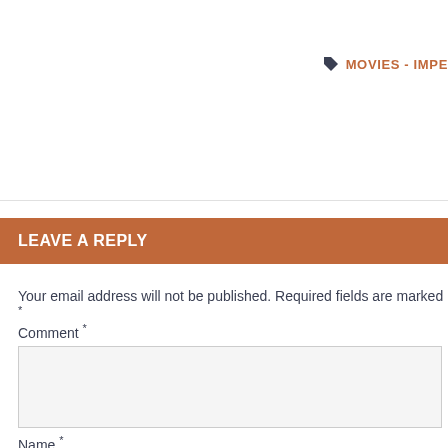MOVIES - IMPE
LEAVE A REPLY
Your email address will not be published. Required fields are marked *
Comment *
Name *